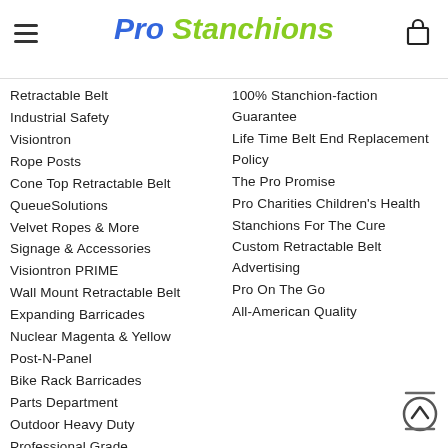Pro Stanchions
Retractable Belt
Industrial Safety
Visiontron
Rope Posts
Cone Top Retractable Belt
QueueSolutions
Velvet Ropes & More
Signage & Accessories
Visiontron PRIME
Wall Mount Retractable Belt
Expanding Barricades
Nuclear Magenta & Yellow
Post-N-Panel
Bike Rack Barricades
Parts Department
Outdoor Heavy Duty
Professional Grade Equipment
100% Stanchion-faction Guarantee
Life Time Belt End Replacement Policy
The Pro Promise
Pro Charities Children's Health
Stanchions For The Cure
Custom Retractable Belt Advertising
Pro On The Go
All-American Quality